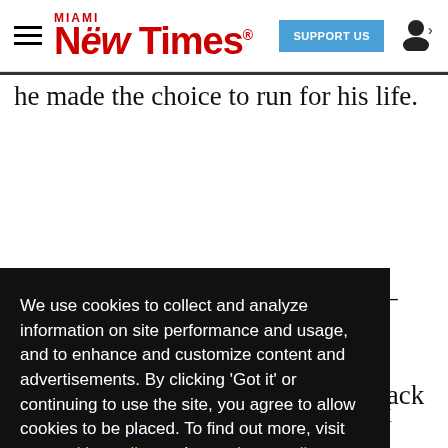Miami New Times — SUPPORT US
he made the choice to run for his life.
We use cookies to collect and analyze information on site performance and usage, and to enhance and customize content and advertisements. By clicking 'Got it' or continuing to use the site, you agree to allow cookies to be placed. To find out more, visit our cookies policy and our privacy policy.
Got it!
cops – Lago, e to he six s the ing within cops and ions
to restrain him. Bruton says the attack forced